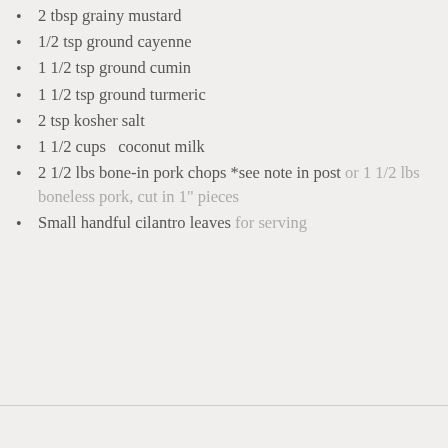2 tbsp grainy mustard
1/2 tsp ground cayenne
1 1/2 tsp ground cumin
1 1/2 tsp ground turmeric
2 tsp kosher salt
1 1/2 cups  coconut milk
2 1/2 lbs bone-in pork chops *see note in post or 1 1/2 lbs boneless pork, cut in 1" pieces
Small handful cilantro leaves for serving